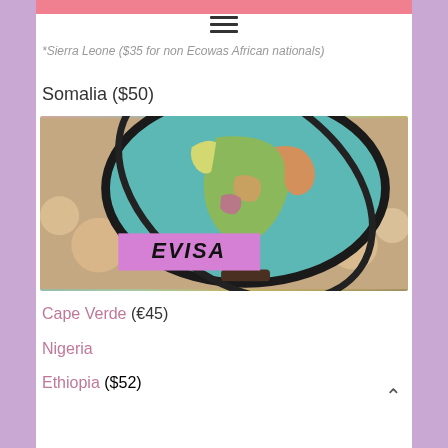*Sierra Leone ($35 for non Ecowas African nationals)
Somalia ($50)
[Figure (photo): A colorful globe showing Africa, with a dark metal stand and bokeh lights in the background. A pink/purple banner overlaid reads 'EVISA' in bold italic text.]
Cape Verde (€45)
Nigeria
Ethiopia ($52)